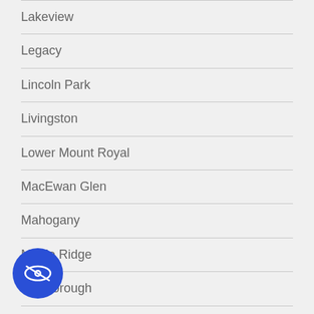Lakeview
Legacy
Lincoln Park
Livingston
Lower Mount Royal
MacEwan Glen
Mahogany
Maple Ridge
Marlborough
Marlborough Park
Martindale